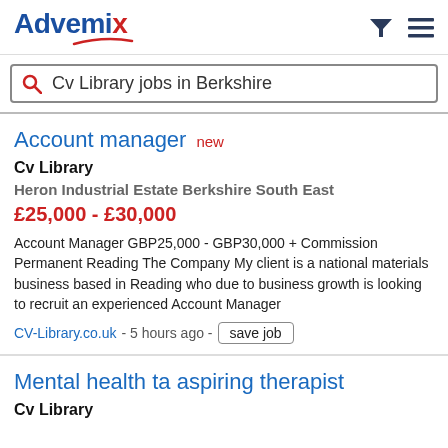Advemix — filter and menu icons
Cv Library jobs in Berkshire
Account manager new
Cv Library
Heron Industrial Estate Berkshire South East
£25,000 - £30,000
Account Manager GBP25,000 - GBP30,000 + Commission Permanent Reading The Company My client is a national materials business based in Reading who due to business growth is looking to recruit an experienced Account Manager
CV-Library.co.uk - 5 hours ago - save job
Mental health ta aspiring therapist
Cv Library